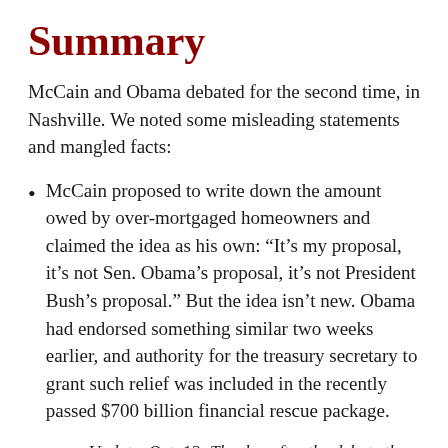Summary
McCain and Obama debated for the second time, in Nashville. We noted some misleading statements and mangled facts:
McCain proposed to write down the amount owed by over-mortgaged homeowners and claimed the idea as his own: “It’s my proposal, it’s not Sen. Obama’s proposal, it’s not President Bush’s proposal.” But the idea isn’t new. Obama had endorsed something similar two weeks earlier, and authority for the treasury secretary to grant such relief was included in the recently passed $700 billion financial rescue package.
Update, Oct. 12: The day after the debate the McCain campaign released additional details of the mortgage plan, which Obama aides said made it a new idea, and a bad one in their view